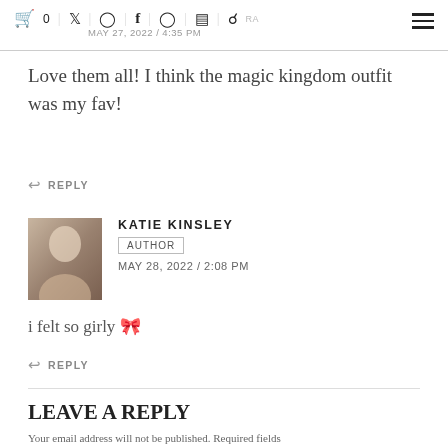Cart 0 | Twitter | Instagram | Facebook | Pinterest | Goodreads | Search | MAY 27, 2022 / 4:35 PM
Love them all! I think the magic kingdom outfit was my fav!
↩ REPLY
KATIE KINSLEY
AUTHOR
MAY 28, 2022 / 2:08 PM
i felt so girly 🎀
↩ REPLY
LEAVE A REPLY
Your email address will not be published. Required fields